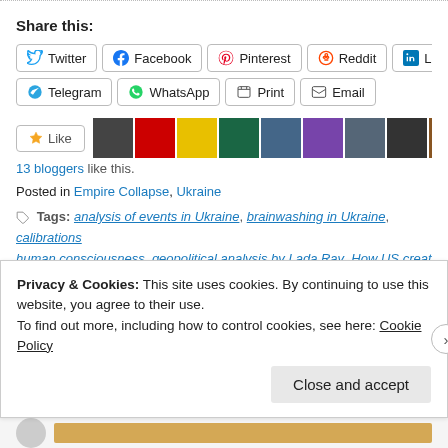Share this:
Twitter
Facebook
Pinterest
Reddit
LinkedIn
Telegram
WhatsApp
Print
Email
Like
13 bloggers like this.
Posted in Empire Collapse, Ukraine
Tags: analysis of events in Ukraine, brainwashing in Ukraine, calibrations human consciousness, geopolitical analysis by Lada Ray, How US creat machines out of ukrainians, Jason Bourne, Kiev, MK ultra in Ukraine, Ru...
Privacy & Cookies: This site uses cookies. By continuing to use this website, you agree to their use. To find out more, including how to control cookies, see here: Cookie Policy
Close and accept